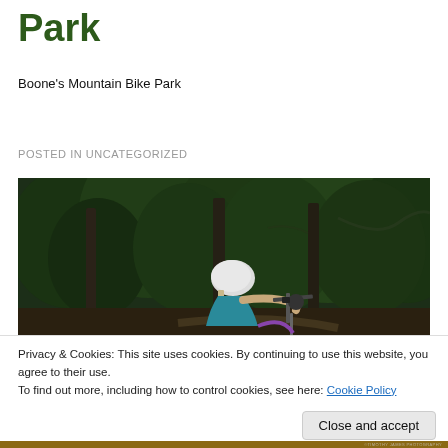Park
Boone's Mountain Bike Park
POSTED IN UNCATEGORIZED
[Figure (photo): Mountain biker wearing white helmet and teal jersey riding on a trail surrounded by dense green forest trees]
Privacy & Cookies: This site uses cookies. By continuing to use this website, you agree to their use.
To find out more, including how to control cookies, see here: Cookie Policy
Close and accept